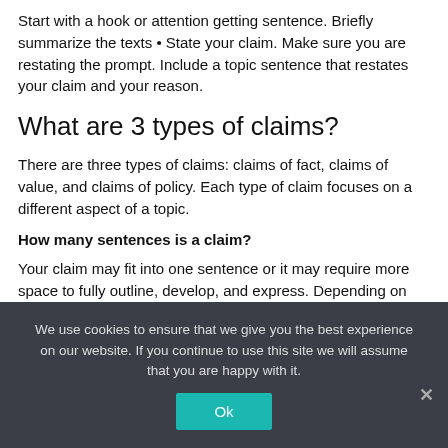Start with a hook or attention getting sentence. Briefly summarize the texts • State your claim. Make sure you are restating the prompt. Include a topic sentence that restates your claim and your reason.
What are 3 types of claims?
There are three types of claims: claims of fact, claims of value, and claims of policy. Each type of claim focuses on a different aspect of a topic.
How many sentences is a claim?
Your claim may fit into one sentence or it may require more space to fully outline, develop, and express. Depending on the length of
We use cookies to ensure that we give you the best experience on our website. If you continue to use this site we will assume that you are happy with it.